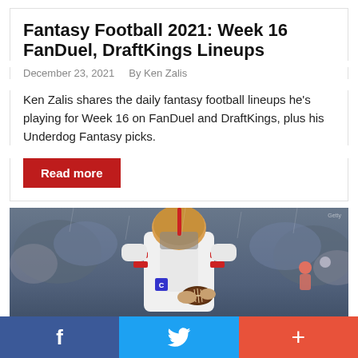Fantasy Football 2021: Week 16 FanDuel, DraftKings Lineups
December 23, 2021   By Ken Zalis
Ken Zalis shares the daily fantasy football lineups he's playing for Week 16 on FanDuel and DraftKings, plus his Underdog Fantasy picks.
Read more
[Figure (photo): San Francisco 49ers quarterback in white uniform holding a football on a rainy field, with blurred stadium crowd in background]
f  (Twitter bird icon)  +